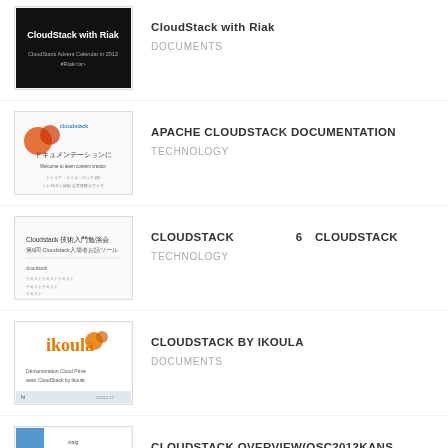CloudStack with Riak
APACHE CLOUDSTACK DOCUMENTATION
CLOUDSTACK　　　　　6　CLOUDSTACK
CLOUDSTACK BY IKOULA
CLOUDSTACK OVERVIEW(OSC2012KANS...